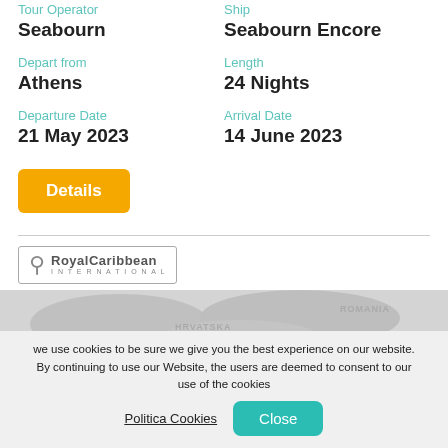Tour Operator
Seabourn
Ship
Seabourn Encore
Depart from
Athens
Length
24 Nights
Departure Date
21 May 2023
Arrival Date
14 June 2023
[Figure (logo): Royal Caribbean International logo]
[Figure (map): Greyscale map showing HRVATSKA, ROMANIA, SERBIA regions]
we use cookies to be sure we give you the best experience on our website. By continuing to use our Website, the users are deemed to consent to our use of the cookies
Politica Cookies
Close